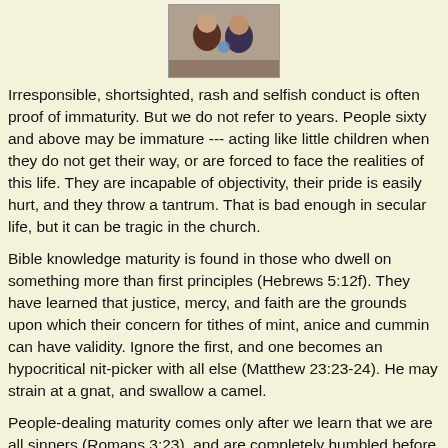[Figure (photo): Partial photo of people at the top of the page, cropped]
Irresponsible, shortsighted, rash and selfish conduct is often proof of immaturity. But we do not refer to years. People sixty and above may be immature --- acting like little children when they do not get their way, or are forced to face the realities of this life. They are incapable of objectivity, their pride is easily hurt, and they throw a tantrum. That is bad enough in secular life, but it can be tragic in the church.
Bible knowledge maturity is found in those who dwell on something more than first principles (Hebrews 5:12f). They have learned that justice, mercy, and faith are the grounds upon which their concern for tithes of mint, anice and cummin can have validity. Ignore the first, and one becomes an hypocritical nit-picker with all else (Matthew 23:23-24). He may strain at a gnat, and swallow a camel.
People-dealing maturity comes only after we learn that we are all sinners (Romans 3:23), and are completely humbled before God. The “babe” seeks an “issue” and perhaps make a “name” for himself. But maturity seeks for souls, hoping to